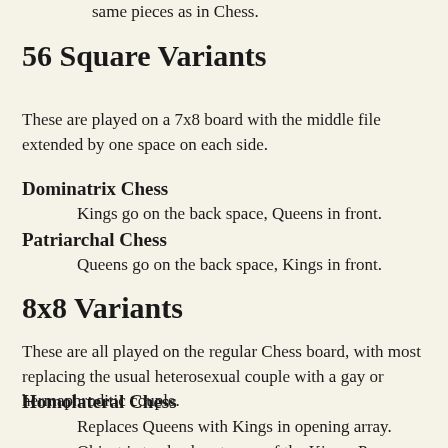same pieces as in Chess.
56 Square Variants
These are played on a 7x8 board with the middle file extended by one space on each side.
Dominatrix Chess
Kings go on the back space, Queens in front.
Patriarchal Chess
Queens go on the back space, Kings in front.
8x8 Variants
These are all played on the regular Chess board, with most replacing the usual heterosexual couple with a gay or hermaphroditic couple.
Homolateral Chess
Replaces Queens with Kings in opening array. Object is to checkmate one of the Kings. Pawns may promote to Queens, as in Chess. Both Kings may